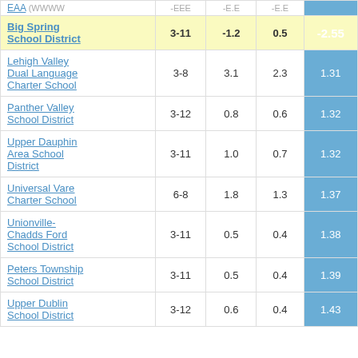| School/District | Grades | Col3 | Col4 | Score |
| --- | --- | --- | --- | --- |
| Big Spring School District | 3-11 | -1.2 | 0.5 | -2.55 |
| Lehigh Valley Dual Language Charter School | 3-8 | 3.1 | 2.3 | 1.31 |
| Panther Valley School District | 3-12 | 0.8 | 0.6 | 1.32 |
| Upper Dauphin Area School District | 3-11 | 1.0 | 0.7 | 1.32 |
| Universal Vare Charter School | 6-8 | 1.8 | 1.3 | 1.37 |
| Unionville-Chadds Ford School District | 3-11 | 0.5 | 0.4 | 1.38 |
| Peters Township School District | 3-11 | 0.5 | 0.4 | 1.39 |
| Upper Dublin School District | 3-12 | 0.6 | 0.4 | 1.43 |